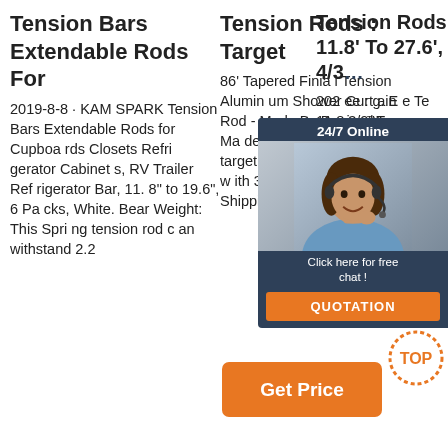Tension Bars Extendable Rods For
2019-8-8 · KAMSPARK Tension Bars Extendable Rods for Cupboards Closets Refrigerator Cabinets, RV Trailer Refrigerator Bar, 11.8" to 19.6", 6 Packs, White. Bear Weight: This Spring tension rod can withstand 2.2
Tension Rods : Target
86' Tapered Finial Tension Aluminum Shower Curtain Rod - Made By Design™. Made By Design Only at. target. ¬. 3.7 out of 5 stars with 37 ratings. 37. 32.00. Shipping not available.
Tension Rods 11.8' To 27.6', 4/3…
2020… ee … g. Extendable Tension… 11.8… 3/2… Tension… Extension Spring Rods Closet Rod Cupboard Bars Tensions Rod for Windows, Kitche
[Figure (photo): Chat widget with woman agent wearing headset, dark blue background, showing '24/7 Online', 'Click here for free chat!', and orange QUOTATION button]
[Figure (logo): TOP badge with orange dotted circle]
Get Price